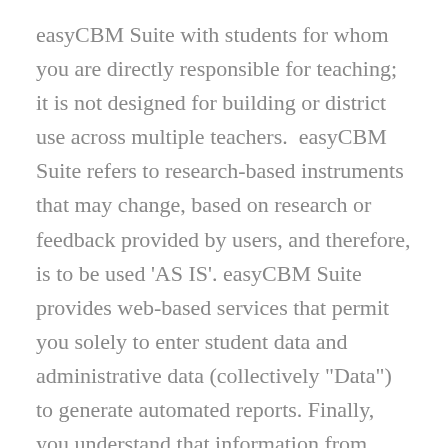easyCBM Suite with students for whom you are directly responsible for teaching; it is not designed for building or district use across multiple teachers.  easyCBM Suite refers to research-based instruments that may change, based on research or feedback provided by users, and therefore, is to be used 'AS IS'. easyCBM Suite provides web-based services that permit you solely to enter student data and administrative data (collectively "Data") to generate automated reports. Finally, you understand that information from easyCBM Suite needs to be supplemented with other information and professional judgments in